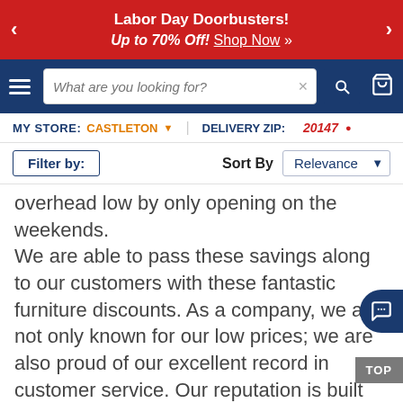Labor Day Doorbusters! Up to 70% Off! Shop Now »
[Figure (screenshot): Website navigation bar with hamburger menu, search box reading 'What are you looking for?', search button, and cart icon on dark blue background]
MY STORE: CASTLETON ▾   DELIVERY ZIP: 20147 ▾
Filter by:   Sort By  Relevance
overhead low by only opening on the weekends. We are able to pass these savings along to our customers with these fantastic furniture discounts. As a company, we are not only known for our low prices; we are also proud of our excellent record in customer service. Our reputation is built on offering quality products with excellent service, every time. We welcome you to shop our hot furniture deals in a Weekends Only location near you or online anytime.
Frequently Asked Questions